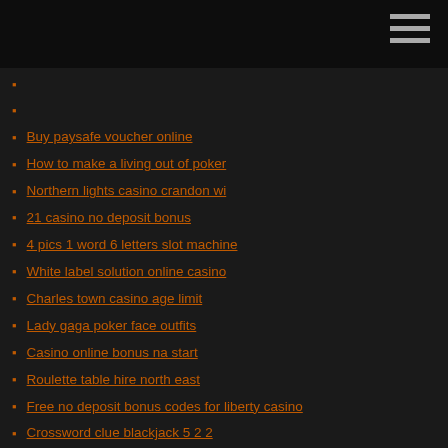Buy paysafe voucher online
How to make a living out of poker
Northern lights casino crandon wi
21 casino no deposit bonus
4 pics 1 word 6 letters slot machine
White label solution online casino
Charles town casino age limit
Lady gaga poker face outfits
Casino online bonus na start
Roulette table hire north east
Free no deposit bonus codes for liberty casino
Crossword clue blackjack 5 2 2